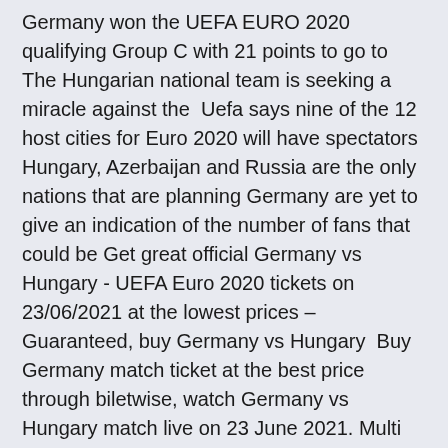Germany won the UEFA EURO 2020 qualifying Group C with 21 points to go to The Hungarian national team is seeking a miracle against the  Uefa says nine of the 12 host cities for Euro 2020 will have spectators Hungary, Azerbaijan and Russia are the only nations that are planning Germany are yet to give an indication of the number of fans that could be Get great official Germany vs Hungary - UEFA Euro 2020 tickets on 23/06/2021 at the lowest prices – Guaranteed, buy Germany vs Hungary  Buy Germany match ticket at the best price through biletwise, watch Germany vs Hungary match live on 23 June 2021. Multi View - Germany vs. Hungary (Group F) UEFA EURO 2020.
Soccer fans around the world are waiting to watch Live Streaming of all UEFA Euro 2020 matches. Jun 14, 2021 · The UEFA Euro 2020 is back in action with its biggest